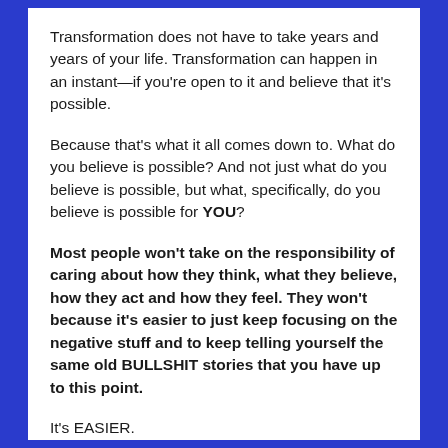Transformation does not have to take years and years of your life. Transformation can happen in an instant—if you're open to it and believe that it's possible.
Because that's what it all comes down to. What do you believe is possible? And not just what do you believe is possible, but what, specifically, do you believe is possible for YOU?
Most people won't take on the responsibility of caring about how they think, what they believe, how they act and how they feel. They won't because it's easier to just keep focusing on the negative stuff and to keep telling yourself the same old BULLSHIT stories that you have up to this point.
It's EASIER.